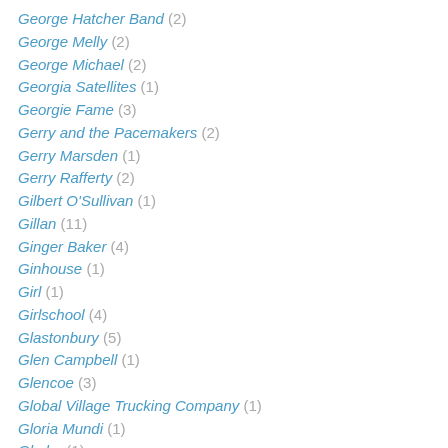George Hatcher Band (2)
George Melly (2)
George Michael (2)
Georgia Satellites (1)
Georgie Fame (3)
Gerry and the Pacemakers (2)
Gerry Marsden (1)
Gerry Rafferty (2)
Gilbert O'Sullivan (1)
Gillan (11)
Ginger Baker (4)
Ginhouse (1)
Girl (1)
Girlschool (4)
Glastonbury (5)
Glen Campbell (1)
Glencoe (3)
Global Village Trucking Company (1)
Gloria Mundi (1)
Glyder (1)